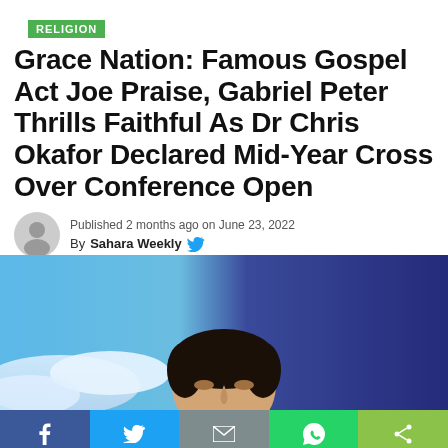RELIGION
Grace Nation: Famous Gospel Act Joe Praise, Gabriel Peter Thrills Faithful As Dr Chris Okafor Declared Mid-Year Cross Over Conference Open
Published 2 months ago on June 23, 2022
By Sahara Weekly
[Figure (photo): Photo of a person looking upward against a blue background, partially cropped showing top of head]
[Figure (infographic): Social media share bar with buttons for Facebook, Twitter, Email, WhatsApp, and Share]